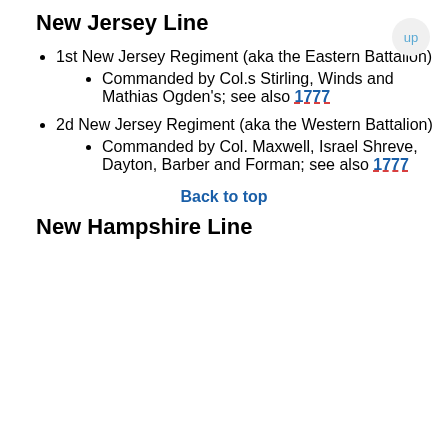New Jersey Line
1st New Jersey Regiment (aka the Eastern Battalion)
Commanded by Col.s Stirling, Winds and Mathias Ogden's; see also 1777
2d New Jersey Regiment (aka the Western Battalion)
Commanded by Col. Maxwell, Israel Shreve, Dayton, Barber and Forman; see also 1777
Back to top
New Hampshire Line